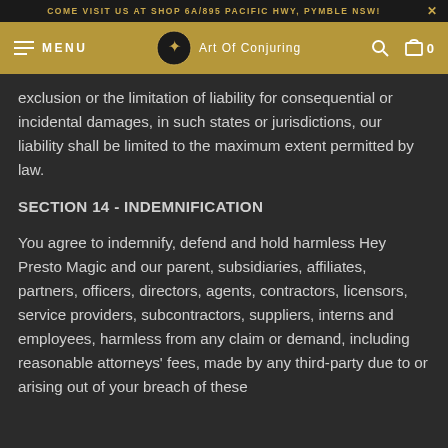COME VISIT US AT SHOP 6A/895 PACIFIC HWY, PYMBLE NSW!
[Figure (screenshot): Navigation bar with hamburger menu, Art Of Conjuring logo, search icon, and cart icon]
exclusion or the limitation of liability for consequential or incidental damages, in such states or jurisdictions, our liability shall be limited to the maximum extent permitted by law.
SECTION 14 - INDEMNIFICATION
You agree to indemnify, defend and hold harmless Hey Presto Magic and our parent, subsidiaries, affiliates, partners, officers, directors, agents, contractors, licensors, service providers, subcontractors, suppliers, interns and employees, harmless from any claim or demand, including reasonable attorneys' fees, made by any third-party due to or arising out of your breach of these